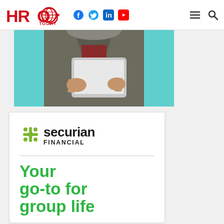HRO Today — navigation bar with logo, social icons (Facebook, Twitter, LinkedIn, YouTube), hamburger menu, search
[Figure (photo): Person holding a white tablet/iPad, wearing a dark jacket over a red top, against a teal/turquoise background, cropped to show torso and hands]
[Figure (logo): Securian Financial logo — green snowflake/cross icon followed by 'securian' in bold dark text and 'FINANCIAL' in smaller spaced dark text below]
Your go-to for group life